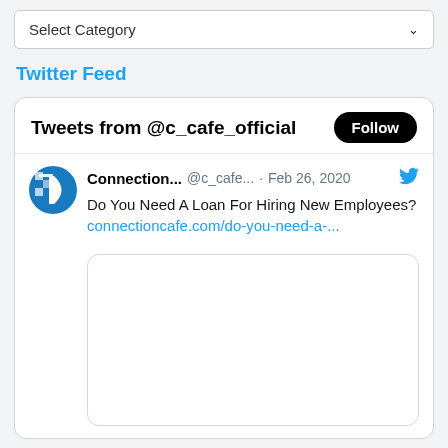[Figure (screenshot): A dropdown select box with label 'Select Category' and a chevron icon on the right]
Twitter Feed
[Figure (screenshot): Twitter widget showing 'Tweets from @c_cafe_official' with a Follow button, and a tweet from Connection... @c_cafe... Feb 26, 2020: 'Do You Need A Loan For Hiring New Employees? connectioncafe.com/do-you-need-a-...' with a Twitter bird icon and an embedded media box below the tweet text.]